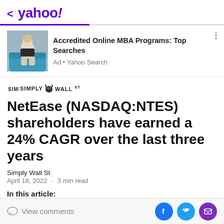< yahoo!
[Figure (photo): Advertisement image showing a woman sitting on a teal couch with a laptop]
Accredited Online MBA Programs: Top Searches
Ad • Yahoo Search
[Figure (logo): Simply Wall St logo with bull icon]
NetEase (NASDAQ:NTES) shareholders have earned a 24% CAGR over the last three years
Simply Wall St
April 18, 2022  ·  3 min read
In this article:
View comments